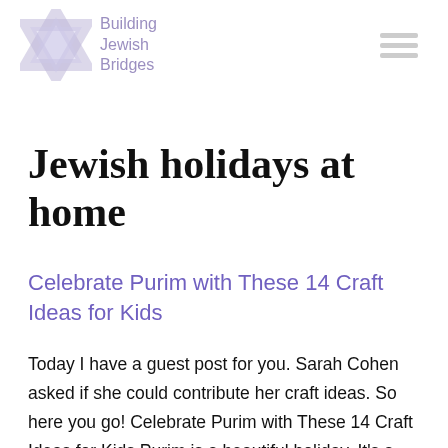Building Jewish Bridges
Jewish holidays at home
Celebrate Purim with These 14 Craft Ideas for Kids
Today I have a guest post for you. Sarah Cohen asked if she could contribute her craft ideas. So here you go! Celebrate Purim with These 14 Craft Ideas for Kids Purim is a beautiful holiday. It's a time to celebrate creativity, let your imagination run wild and have some